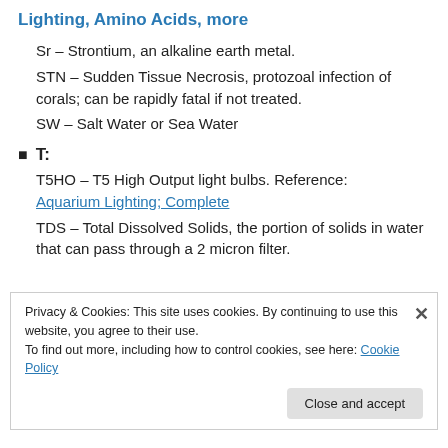Lighting, Amino Acids, more
Sr – Strontium, an alkaline earth metal.
STN – Sudden Tissue Necrosis, protozoal infection of corals; can be rapidly fatal if not treated.
SW – Salt Water or Sea Water
T:
T5HO – T5 High Output light bulbs. Reference: Aquarium Lighting; Complete
TDS – Total Dissolved Solids, the portion of solids in water that can pass through a 2 micron filter.
Privacy & Cookies: This site uses cookies. By continuing to use this website, you agree to their use. To find out more, including how to control cookies, see here: Cookie Policy